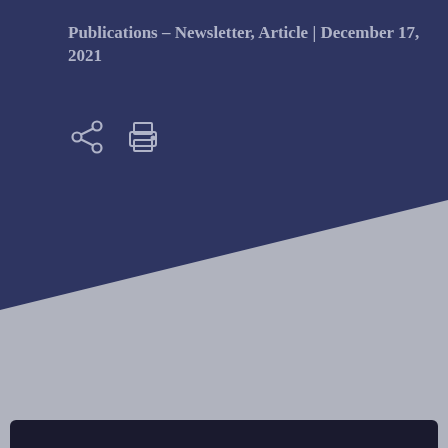Publications – Newsletter, Article | December 17, 2021
[Figure (infographic): Share and print icons on dark navy background with diagonal grey section in lower portion of page]
[Figure (other): Dark bar at the bottom of the page]